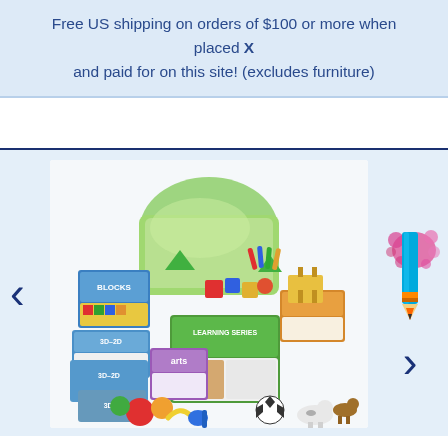Free US shipping on orders of $100 or more when placed X and paid for on this site! (excludes furniture)
[Figure (photo): A collection of early childhood educational products including colorful building blocks boxes labeled 'BLOCKS', '3D-2D', 'arts', and other curriculum kits, scattered toy animals, fruits, a soccer ball, and a large green storage bin in the background.]